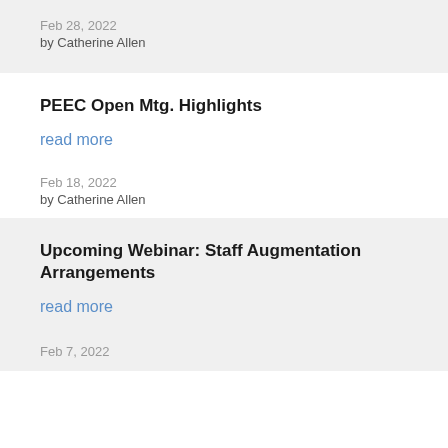Feb 28, 2022
by Catherine Allen
PEEC Open Mtg. Highlights
read more
Feb 18, 2022
by Catherine Allen
Upcoming Webinar: Staff Augmentation Arrangements
read more
Feb 7, 2022